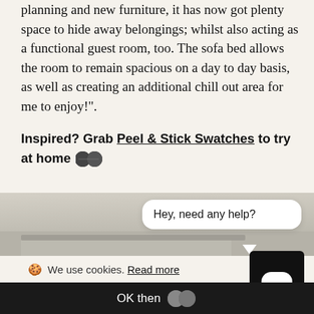planning and new furniture, it has now got plenty space to hide away belongings; whilst also acting as a functional guest room, too. The sofa bed allows the room to remain spacious on a day to day basis, as well as creating an additional chill out area for me to enjoy!".
Inspired? Grab Peel & Stick Swatches to try at home
[Figure (photo): Blurred interior room photo showing a light-colored wall and furniture]
Hey, need any help?
🍪 We use cookies. Read more
OK then